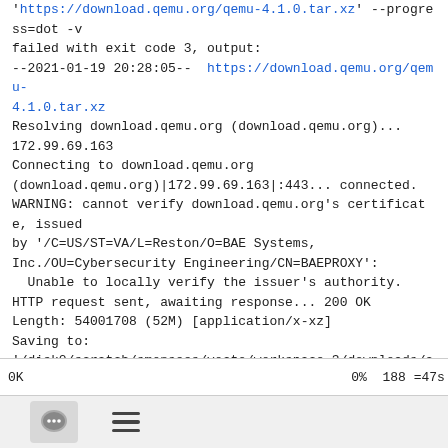'https://download.qemu.org/qemu-4.1.0.tar.xz' --progress=dot -v failed with exit code 3, output:
--2021-01-19 20:28:05--  https://download.qemu.org/qemu-4.1.0.tar.xz
Resolving download.qemu.org (download.qemu.org)... 172.99.69.163
Connecting to download.qemu.org (download.qemu.org)|172.99.69.163|:443... connected.
WARNING: cannot verify download.qemu.org's certificate, issued by '/C=US/ST=VA/L=Reston/O=BAE Systems, Inc./OU=Cybersecurity Engineering/CN=BAEPROXY':
  Unable to locally verify the issuer's authority.
HTTP request sent, awaiting response... 200 OK
Length: 54001708 (52M) [application/x-xz]
Saving to: '/disk0/scratch/smonsees/yocto/workspace_3/downloads/aarch64/qemu-4.1.0.tar.xz'
0K                                        0%  188 =47s
[Figure (other): Bottom navigation bar with a comment/chat icon button and a hamburger menu icon]